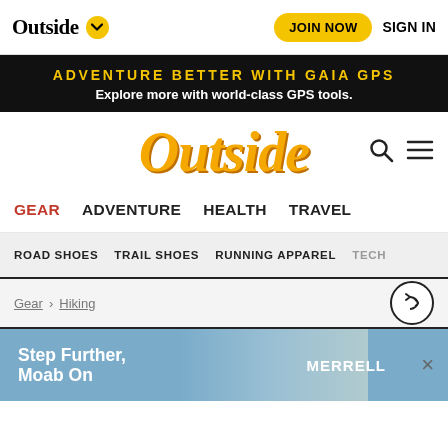Outside | JOIN NOW | SIGN IN
ADVENTURE BETTER WITH GAIA GPS
Explore more with world-class GPS tools.
[Figure (logo): Outside magazine logo in large yellow italic serif font]
GEAR   ADVENTURE   HEALTH   TRAVEL
ROAD SHOES   TRAIL SHOES   RUNNING APPAREL   TECH
Gear > Hiking
[Figure (screenshot): Merrell advertisement banner: Step Further, Moab On with hikers in desert landscape]